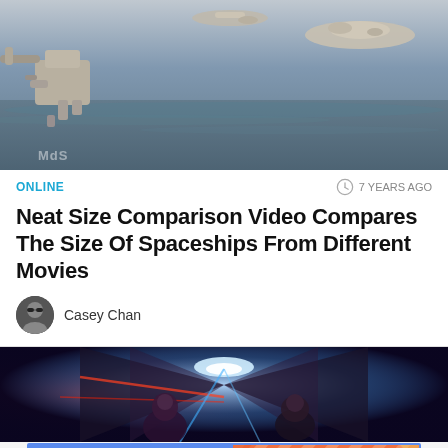[Figure (photo): 3D rendered spaceships floating above a dark ocean surface, including what appears to be the Millennium Falcon and other movie spaceships, with a watermark 'MdS' in the lower left corner]
ONLINE
7 YEARS AGO
Neat Size Comparison Video Compares The Size Of Spaceships From Different Movies
Casey Chan
[Figure (screenshot): Dark sci-fi corridor scene with two characters visible, bright blue and red light beams, cinematic spaceship interior setting]
[Figure (infographic): Gizmodo advertisement banner with blue background showing GIZMODO on left and FOLLOW US ON TWITTER on orange/coral striped right panel]